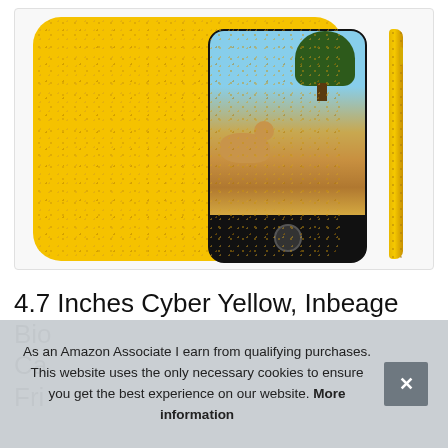[Figure (photo): Yellow speckled phone case shown from back and side edge, with phone screen visible showing savanna scene with gazelle and tree]
4.7 Inches Cyber Yellow, Inbeage Bio Ca Fri
As an Amazon Associate I earn from qualifying purchases. This website uses the only necessary cookies to ensure you get the best experience on our website. More information